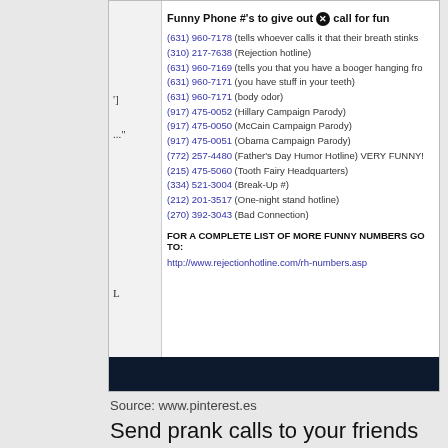[Figure (screenshot): Screenshot of a webpage listing funny phone numbers with a dark navigation bar at the bottom]
Source: www.pinterest.es
Send prank calls to your friends with scenarios like pizza orders, wake up services, fleeing bride